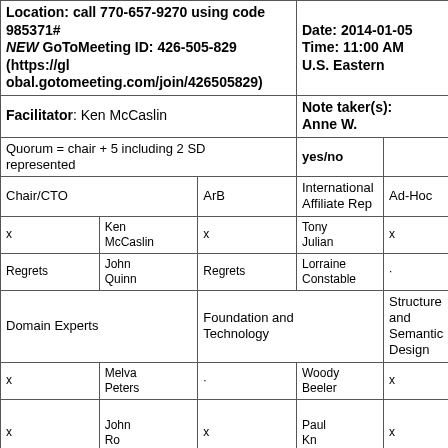| Location/Meeting Info | Date/Time |
| --- | --- |
| Location: call 770-657-9270 using code 985371# NEW GoToMeeting ID: 426-505-829 (https://global.gotomeeting.com/join/426505829) | Date: 2014-01-05 Time: 11:00 AM U.S. Eastern |
| Facilitator: Ken McCaslin | Note taker(s): Anne W. |
| Quorum = chair + 5 including 2 SD represented | yes/no |  |
| Chair/CTO | ArB | International Affiliate Rep | Ad-Hoc |
| x | Ken McCaslin | x | Tony Julian | x | Jean Duteau | . |  |
| Regrets | John Quinn | Regrets | Lorraine Constable | . | Giorgio Cangioli | . |  |
| Domain Experts | Foundation and Technology | Structure and Semantic Design | Technical and Support Services |
| x | Melva Peters | . | Woody Beeler | x | Calvin Beebe | x | Freida Hall |
| x | John Roberts (partial) | x | Paul Knapp | x | Pat van Buren | x | Andy Stechishin |